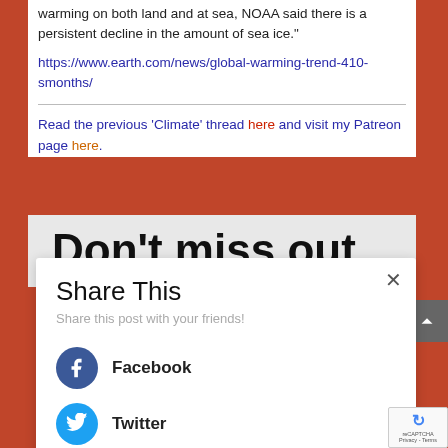warming on both land and at sea, NOAA said there is a persistent decline in the amount of sea ice.”
https://www.earth.com/news/global-warming-trend-410-smonths/
Read the previous ‘Climate’ thread here and visit my Patreon page here.
Don't miss out
Share This
Share this post with your friends!
Facebook
Twitter